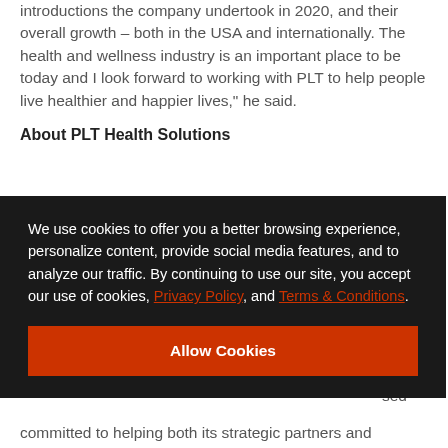you can see it with the number of new ingredient introductions the company undertook in 2020, and their overall growth – both in the USA and internationally. The health and wellness industry is an important place to be today and I look forward to working with PLT to help people live healthier and happier lives," he said.
About PLT Health Solutions
[Figure (screenshot): Cookie consent overlay on dark background reading: 'We use cookies to offer you a better browsing experience, personalize content, provide social media features, and to analyze our traffic. By continuing to use our site, you accept our use of cookies, Privacy Policy, and Terms & Conditions.' with an 'Allow Cookies' red button.]
committed to helping both its strategic partners and